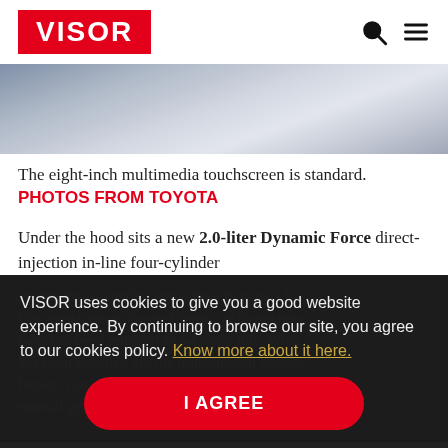VISOR
[Figure (photo): Partial view of a car interior/exterior, blurred background, showing light reflection on surfaces]
The eight-inch multimedia touchscreen is standard. PHOTOS FROM TOYOTA
Under the hood sits a new 2.0-liter Dynamic Force direct-injection in-line four-cylinder engine that is smaller and lighter than its 1.8-liter predecessor. Power figures, unfortunately, have not been released as we write this. What has been revealed are the transmission options. Buyers can choose from a six-speed manual gearbox called the iM (intelligent
VISOR uses cookies to give you a good website experience. By continuing to browse our site, you agree to our cookies policy. Know more about it here.
I AGREE